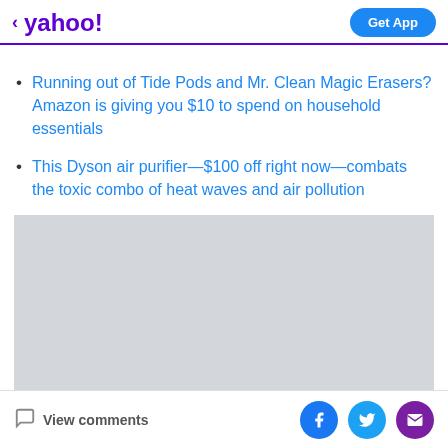< yahoo!  Get App
Running out of Tide Pods and Mr. Clean Magic Erasers? Amazon is giving you $10 to spend on household essentials
This Dyson air purifier—$100 off right now—combats the toxic combo of heat waves and air pollution
[Figure (other): Gray placeholder advertisement/image box]
View comments  [Facebook] [Twitter] [Email]